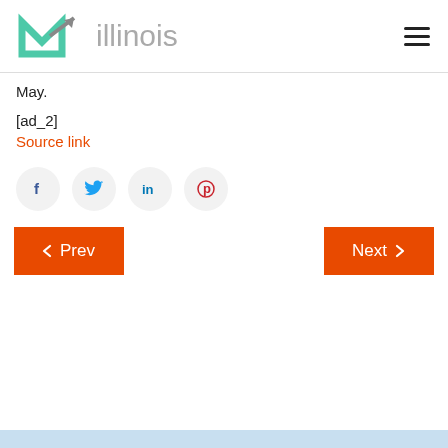MAillinois
May.
[ad_2]
Source link
[Figure (other): Social share buttons: Facebook, Twitter, LinkedIn, Pinterest]
[Figure (other): Navigation buttons: Prev and Next in orange/red]